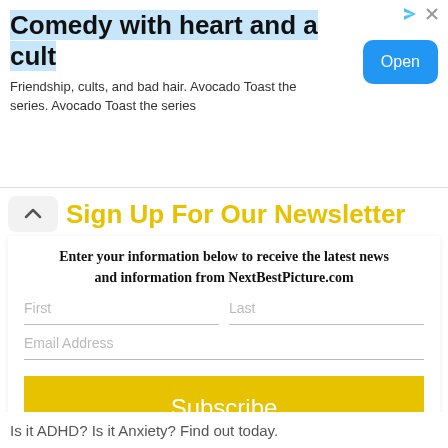Comedy with heart and a cult
Friendship, cults, and bad hair. Avocado Toast the series. Avocado Toast the series
Sign Up For Our Newsletter
Enter your information below to receive the latest news and information from NextBestPicture.com
First
Last
Email Address
Subscribe
Is it ADHD? Is it Anxiety? Find out today.